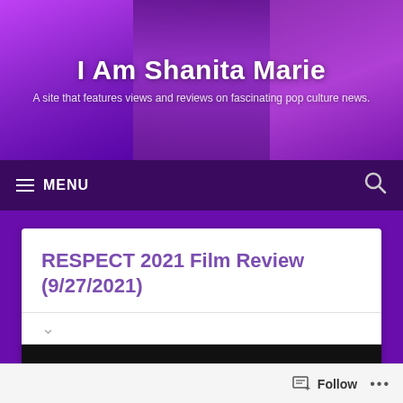I Am Shanita Marie
A site that features views and reviews on fascinating pop culture news.
≡ MENU
RESPECT 2021 Film Review (9/27/2021)
[Figure (screenshot): Dark video thumbnail strip at bottom of article card]
Follow ...